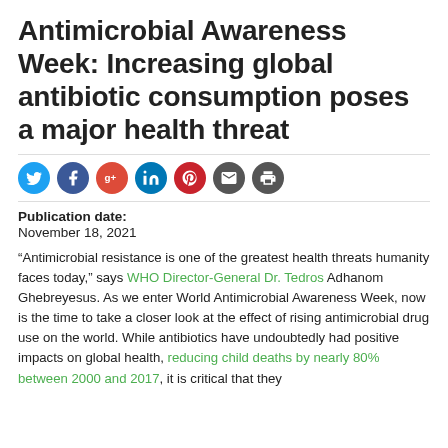Antimicrobial Awareness Week: Increasing global antibiotic consumption poses a major health threat
[Figure (infographic): Row of social media sharing icons: Twitter (blue), Facebook (dark blue), Google+ (red), LinkedIn (blue), Pinterest (red), Email (grey), Print (grey)]
Publication date:
November 18, 2021
“Antimicrobial resistance is one of the greatest health threats humanity faces today,” says WHO Director-General Dr. Tedros Adhanom Ghebreyesus. As we enter World Antimicrobial Awareness Week, now is the time to take a closer look at the effect of rising antimicrobial drug use on the world. While antibiotics have undoubtedly had positive impacts on global health, reducing child deaths by nearly 80% between 2000 and 2017, it is critical that they